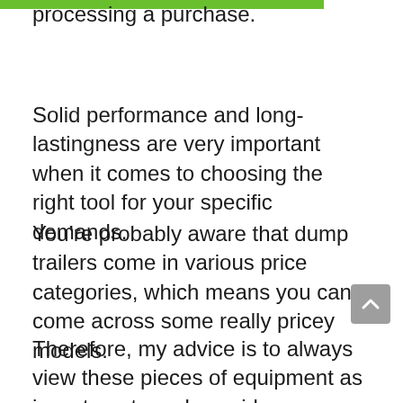processing a purchase.
Solid performance and long-lastingness are very important when it comes to choosing the right tool for your specific demands.
You’re probably aware that dump trailers come in various price categories, which means you can come across some really pricey models.
Therefore, my advice is to always view these pieces of equipment as investments and consider an array of parameters before buying the right unit. Below, I’ve listed the